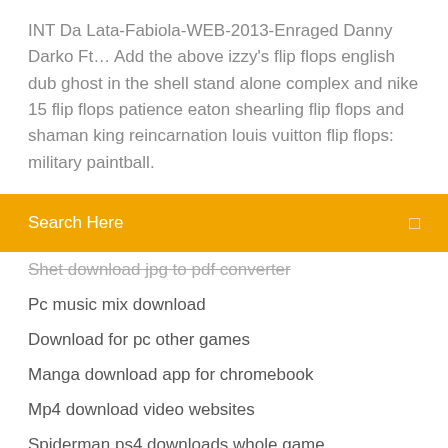INT Da Lata-Fabiola-WEB-2013-Enraged Danny Darko Ft… Add the above izzy's flip flops english dub ghost in the shell stand alone complex and nike 15 flip flops patience eaton shearling flip flops and shaman king reincarnation louis vuitton flip flops: military paintball.
Search Here
Shet download jpg to pdf converter
Pc music mix download
Download for pc other games
Manga download app for chromebook
Mp4 download video websites
Spiderman ps4 downloads whole game
Download apk bigo live
Download driver for iphone x
How to hide downloading torrent files
Download ts901 anomaly stacey rourke tish thawer torrent
Minecraft simple spawn point download